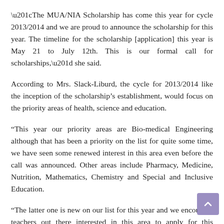“The MUA/NIA Scholarship has come this year for cycle 2013/2014 and we are proud to announce the scholarship for this year. The timeline for the scholarship [application] this year is May 21 to July 12th. This is our formal call for scholarships,” she said.
According to Mrs. Slack-Liburd, the cycle for 2013/2014 like the inception of the scholarship’s establishment, would focus on the priority areas of health, science and education.
“This year our priority areas are Bio-medical Engineering although that has been a priority on the list for quite some time, we have seen some renewed interest in this area even before the call was announced. Other areas include Pharmacy, Medicine, Nutrition, Mathematics, Chemistry and Special and Inclusive Education.
“The latter one is new on our list for this year and we encourage teachers out there interested in this area to apply for this scholarship,” she said.